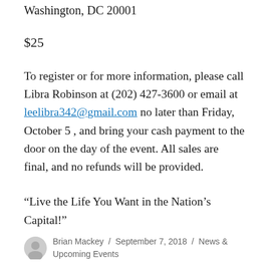Washington, DC 20001
$25
To register or for more information, please call Libra Robinson at (202) 427-3600 or email at leelibra342@gmail.com no later than Friday, October 5 , and bring your cash payment to the door on the day of the event. All sales are final, and no refunds will be provided.
“Live the Life You Want in the Nation’s Capital!”
Brian Mackey / September 7, 2018 / News & Upcoming Events